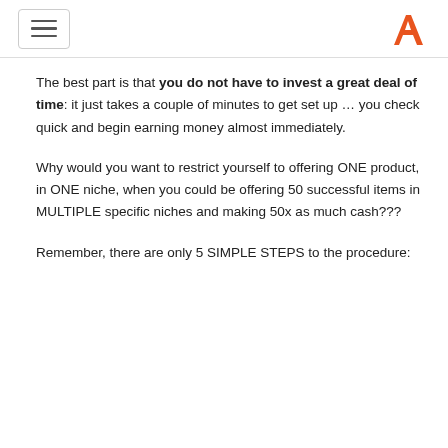[hamburger menu icon] [logo A]
The best part is that you do not have to invest a great deal of time: it just takes a couple of minutes to get set up … you check quick and begin earning money almost immediately.
Why would you want to restrict yourself to offering ONE product, in ONE niche, when you could be offering 50 successful items in MULTIPLE specific niches and making 50x as much cash???
Remember, there are only 5 SIMPLE STEPS to the procedure: